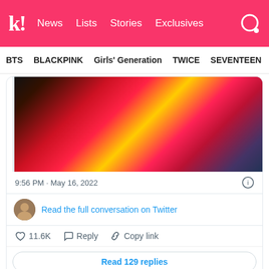k! News Lists Stories Exclusives
BTS BLACKPINK Girls' Generation TWICE SEVENTEEN
[Figure (screenshot): Embedded tweet screenshot showing a colorful image (red/pink/yellow fabric), tweet timestamp '9:56 PM · May 16, 2022', 'Read the full conversation on Twitter' link, like count 11.6K, Reply, Copy link actions, and 'Read 129 replies' button]
Again, netizens were shook by the plot twist. They confessed that initially, they thought it was a “delelu” post.